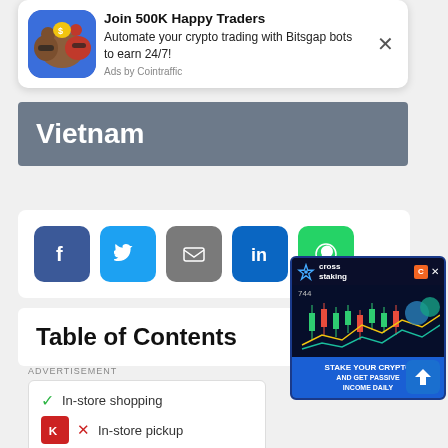[Figure (infographic): Advertisement banner: Join 500K Happy Traders - Automate your crypto trading with Bitsgap bots to earn 24/7! Ads by Cointraffic]
Vietnam
[Figure (infographic): Social share buttons: Facebook, Twitter, Email, LinkedIn, WhatsApp]
Table of Contents
ADVERTISEMENT
[Figure (infographic): Advertisement: In-store shopping (check), In-store pickup (X), Delivery (X). K logo shown.]
[Figure (infographic): Cross staking advertisement: STAKE YOUR CRYPTO AND GET PASSIVE INCOME DAILY. Shows crypto candlestick chart with number 744.]